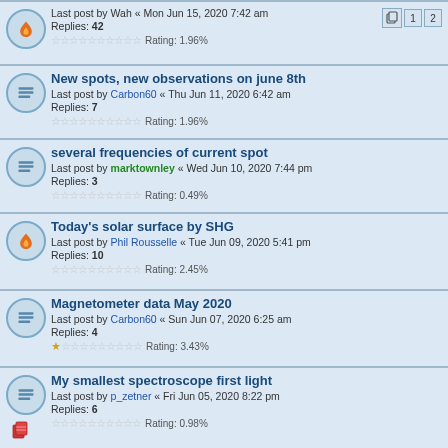Last post by Wah « Mon Jun 15, 2020 7:42 am
Replies: 42
Rating: 1.96%
New spots, new observations on june 8th
Last post by Carbon60 « Thu Jun 11, 2020 6:42 am
Replies: 7
Rating: 1.96%
several frequencies of current spot
Last post by marktownley « Wed Jun 10, 2020 7:44 pm
Replies: 3
Rating: 0.49%
Today's solar surface by SHG
Last post by Phil Rousselle « Tue Jun 09, 2020 5:41 pm
Replies: 10
Rating: 2.45%
Magnetometer data May 2020
Last post by Carbon60 « Sun Jun 07, 2020 6:25 am
Replies: 4
Rating: 3.43%
My smallest spectroscope first light
Last post by p_zetner « Fri Jun 05, 2020 8:22 pm
Replies: 6
Rating: 0.98%
Who is going to capture the flash spectrum of the upcoming annular eclipse?
Last post by Wah « Tue Jun 02, 2020 10:54 pm
Replies: 2
Quick first light